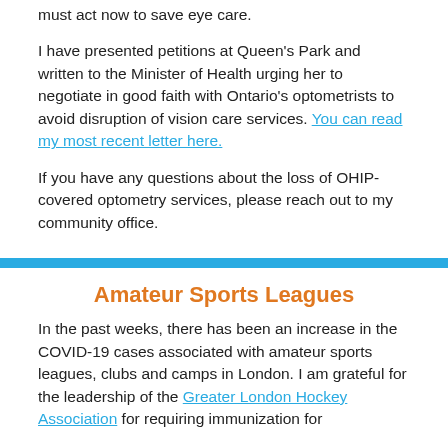must act now to save eye care.

I have presented petitions at Queen's Park and written to the Minister of Health urging her to negotiate in good faith with Ontario's optometrists to avoid disruption of vision care services. You can read my most recent letter here.

If you have any questions about the loss of OHIP-covered optometry services, please reach out to my community office.
Amateur Sports Leagues
In the past weeks, there has been an increase in the COVID-19 cases associated with amateur sports leagues, clubs and camps in London. I am grateful for the leadership of the Greater London Hockey Association for requiring immunization for